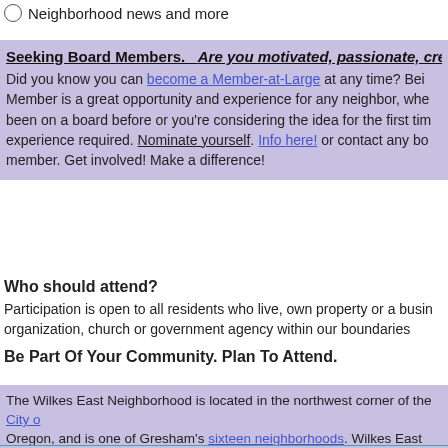Neighborhood news and more
Seeking Board Members.   Are you motivated, passionate, creat... Did you know you can become a Member-at-Large at any time? Being a Member is a great opportunity and experience for any neighbor, whether you've been on a board before or you're considering the idea for the first time. No experience required. Nominate yourself. Info here! or contact any board member. Get involved! Make a difference!
Who should attend?
Participation is open to all residents who live, own property or a business, organization, church or government agency within our boundaries
Be Part Of Your Community. Plan To Attend.
The Wilkes East Neighborhood is located in the northwest corner of the City of Oregon, and is one of Gresham's sixteen neighborhoods. Wilkes East Neighborhood borders are roughly NE Sandy Blvd to the north, NE 181st Ave to the east, NE to the south, and NE 162nd Ave to the west. Get map!.